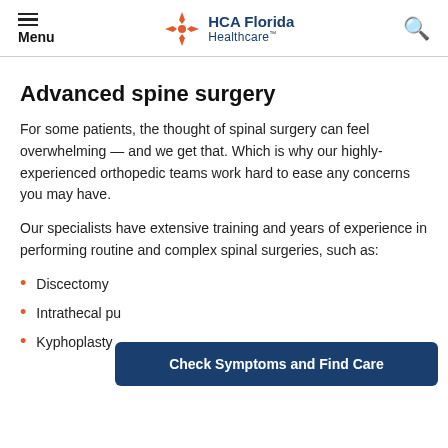Menu | HCA Florida Healthcare
Advanced spine surgery
For some patients, the thought of spinal surgery can feel overwhelming — and we get that. Which is why our highly-experienced orthopedic teams work hard to ease any concerns you may have.
Our specialists have extensive training and years of experience in performing routine and complex spinal surgeries, such as:
Discectomy
Intrathecal pu…
Kyphoplasty
Check Symptoms and Find Care